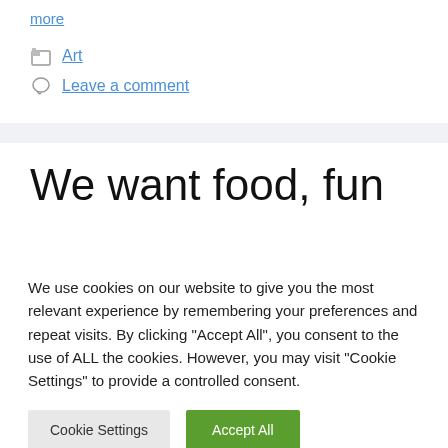more
Art
Leave a comment
We want food, fun
We use cookies on our website to give you the most relevant experience by remembering your preferences and repeat visits. By clicking “Accept All”, you consent to the use of ALL the cookies. However, you may visit "Cookie Settings" to provide a controlled consent.